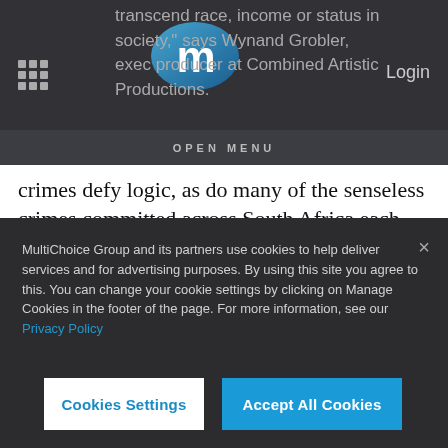transcend race, income or status in society, says Wynand Grobler, executive producer at Combined Artistic Productions.
OPEN MENU
crimes defy logic, as do many of the senseless crimes committed across South Africa each day. Strangers You Know drives home the reality that hidden behind the murder stats are people you may know. This series pays homage to each victim, their families and those who worked
MultiChoice Group and its partners use cookies to help deliver services and for advertising purposes. By using this site you agree to this. You can change your cookie settings by clicking on Manage Cookies in the footer of the page. For more information, see our Privacy Policy
Cookies Settings
Accept All Cookies